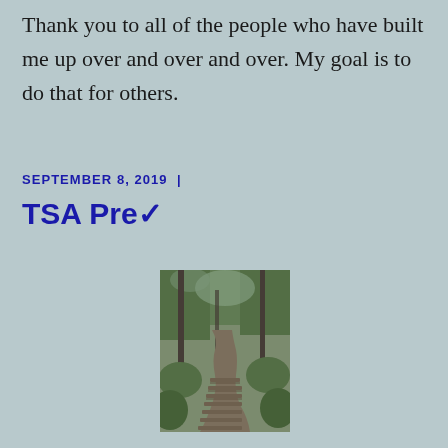Thank you to all of the people who have built me up over and over and over. My goal is to do that for others.
SEPTEMBER 8, 2019  |
TSA Pre✓
[Figure (photo): A winding wooden staircase path through a green forest with trees and foliage on either side, photographed in a slightly desaturated style.]